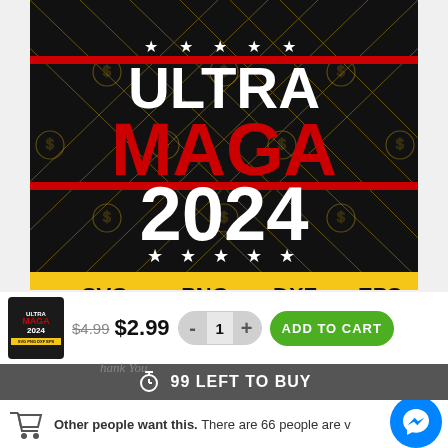[Figure (illustration): Product listing image for Ultra MAGA 2024 SVG/PNG/DXF/EPS digital files. Black background with diamond pattern, white text ULTRA, red text MAGA, white text 2024, stars, and a gold format bar showing SVG PNG DXF EPS.]
[Figure (screenshot): E-commerce product action area: thumbnail of product, crossed-out price $4.99, sale price $2.99, quantity selector showing 1, and green ADD TO CART button.]
99 LEFT TO BUY
Other people want this. There are 66 people are viewing this.